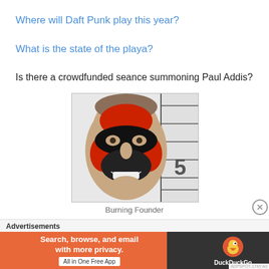Where will Daft Punk play this year?
What is the state of the playa?
Is there a crowdfunded seance summoning Paul Addis?
[Figure (photo): Mugshot photo of a man with theatrical red and black face paint, smiling, against a height measurement board showing the number 5]
Burning Founder
Advertisements
[Figure (screenshot): DuckDuckGo advertisement banner: 'Search, browse, and email with more privacy. All in One Free App' with DuckDuckGo logo on dark background]